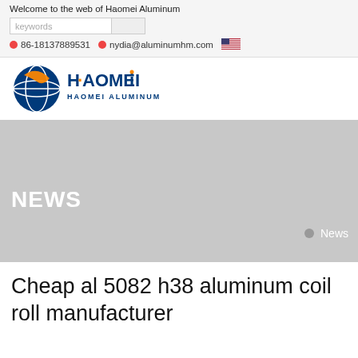Welcome to the web of Haomei Aluminum
86-18137889531   nydia@aluminumhm.com
[Figure (logo): Haomei Aluminum logo with circular globe icon and blue/orange text reading HAOMEI HAOMEI ALUMINUM]
[Figure (photo): Gray hero banner image with NEWS heading in white and breadcrumb navigation showing News]
Cheap al 5082 h38 aluminum coil roll manufacturer